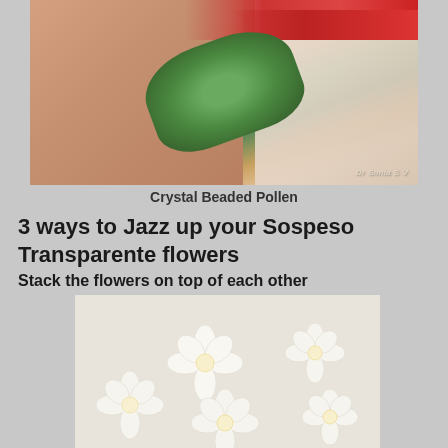[Figure (photo): Close-up photo of a crystal beaded pollen pendant on a red beaded chain, placed on skin with lace fabric in background. Watermark reads 'Dr Sonia S V'.]
Crystal Beaded Pollen
3 ways to Jazz up your Sospeso Transparente flowers
Stack the flowers on top of each other
[Figure (photo): Photo of multiple white Sospeso Transparente flowers arranged on a light beige surface, showing stacked flower technique.]